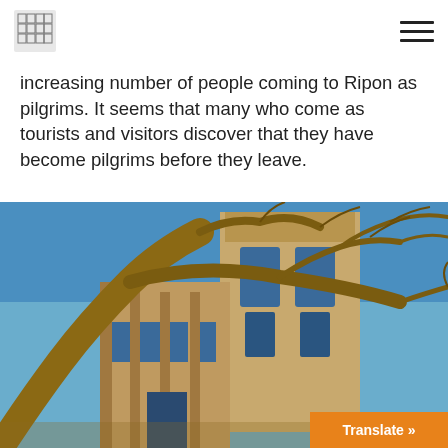Logo and navigation menu
increasing number of people coming to Ripon as pilgrims. It seems that many who come as tourists and visitors discover that they have become pilgrims before they leave.
[Figure (photo): Photograph of Ripon Cathedral tower seen from below, with a large bare tree arching in the foreground against a blue sky. The stone facade of the Gothic cathedral is sunlit in warm tones.]
Translate »